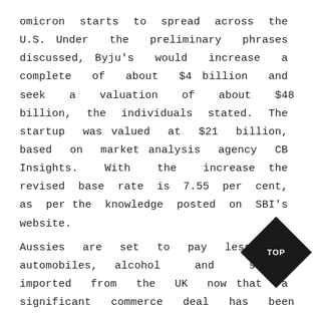omicron starts to spread across the U.S. Under the preliminary phrases discussed, Byju's would increase a complete of about $4 billion and seek a valuation of about $48 billion, the individuals stated. The startup was valued at $21 billion, based on market analysis agency CB Insights. With the increase the revised base rate is 7.55 per cent, as per the knowledge posted on SBI's website. Aussies are set to pay less for automobiles, alcohol and snacks imported from the UK now that a significant commerce deal has been locked in. Many institutional traders are demanding extra climate ambition from Australian firms with banks and gasoli... Business Marketing users feeling the h... throughout this AGM season. The local tech